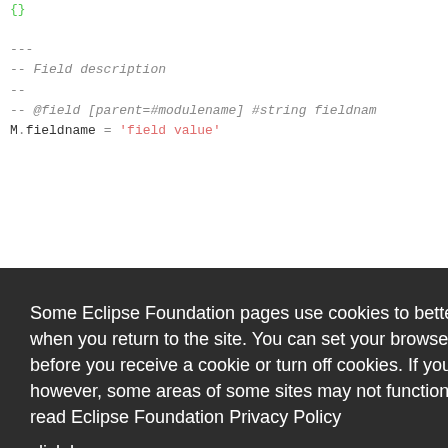[Figure (screenshot): Code editor screenshot showing Lua/documentation code with syntax highlighting. Lines include comments with dashes, @field annotation, M.fieldname assignment, and partial visible code on right side. An Eclipse Foundation cookie consent overlay covers the lower portion with Decline and Allow cookies buttons.]
Some Eclipse Foundation pages use cookies to better serve you when you return to the site. You can set your browser to notify you before you receive a cookie or turn off cookies. If you do so, however, some areas of some sites may not function properly. To read Eclipse Foundation Privacy Policy
click here.
Decline
Allow cookies